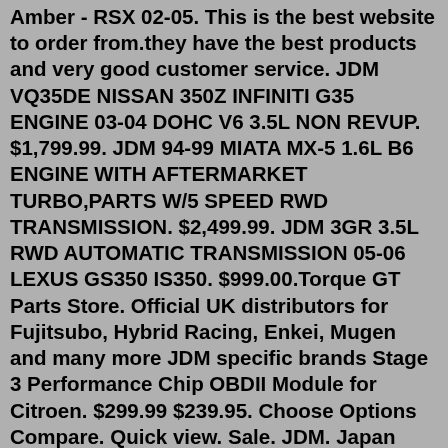Amber - RSX 02-05. This is the best website to order from.they have the best products and very good customer service. JDM VQ35DE NISSAN 350Z INFINITI G35 ENGINE 03-04 DOHC V6 3.5L NON REVUP. $1,799.99. JDM 94-99 MIATA MX-5 1.6L B6 ENGINE WITH AFTERMARKET TURBO,PARTS W/5 SPEED RWD TRANSMISSION. $2,499.99. JDM 3GR 3.5L RWD AUTOMATIC TRANSMISSION 05-06 LEXUS GS350 IS350. $999.00.Torque GT Parts Store. Official UK distributors for Fujitsubo, Hybrid Racing, Enkei, Mugen and many more JDM specific brands Stage 3 Performance Chip OBDII Module for Citroen. $299.99 $239.95. Choose Options Compare. Quick view. Sale. JDM. Japan Racing JR Wheels JR37 21×9.5 ET0-35 CUSTOM PCD Silver. 21" X 9.5. €545 €400. Add to cart. Japan Racing JR Wheels JR37 21×9.5 ET0-35 CUSTOM PCD Silver. 21" X 9.5. €545 €400. Add to cart. 1320 Performance specializing in JDM aftermarket and OEM automotive performance parts. 1320 Performance is committed to